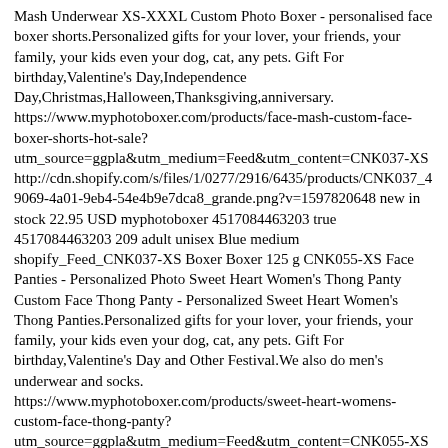Mash Underwear XS-XXXL Custom Photo Boxer - personalised face boxer shorts.Personalized gifts for your lover, your friends, your family, your kids even your dog, cat, any pets. Gift For birthday,Valentine's Day,Independence Day,Christmas,Halloween,Thanksgiving,anniversary. https://www.myphotoboxer.com/products/face-mash-custom-face-boxer-shorts-hot-sale? utm_source=ggpla&utm_medium=Feed&utm_content=CNK037-XS http://cdn.shopify.com/s/files/1/0277/2916/6435/products/CNK037_4 9069-4a01-9eb4-54e4b9e7dca8_grande.png?v=1597820648 new in stock 22.95 USD myphotoboxer 4517084463203 true 4517084463203 209 adult unisex Blue medium shopify_Feed_CNK037-XS Boxer Boxer 125 g CNK055-XS Face Panties - Personalized Photo Sweet Heart Women's Thong Panty Custom Face Thong Panty - Personalized Sweet Heart Women's Thong Panties.Personalized gifts for your lover, your friends, your family, your kids even your dog, cat, any pets. Gift For birthday,Valentine's Day and Other Festival.We also do men's underwear and socks. https://www.myphotoboxer.com/products/sweet-heart-womens-custom-face-thong-panty? utm_source=ggpla&utm_medium=Feed&utm_content=CNK055-XS http://cdn.shopify.com/s/files/1/0277/2916/6435/products/CNK055_ e 1572393681 new in stock 15.95 USD myphotoboxer